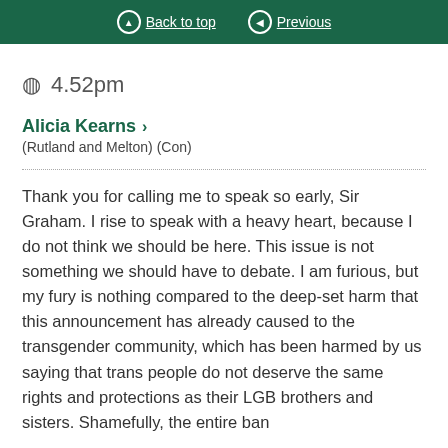Back to top   Previous
4.52pm
Alicia Kearns >
(Rutland and Melton) (Con)
Thank you for calling me to speak so early, Sir Graham. I rise to speak with a heavy heart, because I do not think we should be here. This issue is not something we should have to debate. I am furious, but my fury is nothing compared to the deep-set harm that this announcement has already caused to the transgender community, which has been harmed by us saying that trans people do not deserve the same rights and protections as their LGB brothers and sisters. Shamefully, the entire ban